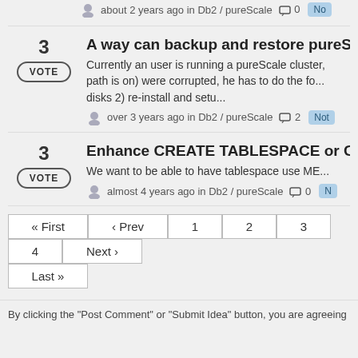db2stop instead of db2top by mistake. ...
about 2 years ago in Db2 / pureScale  ☐ 0  No...
A way can backup and restore pureScale
VOTE
Currently an user is running a pureScale cluster, path is on) were corrupted, he has to do the fo... disks 2) re-install and setu...
over 3 years ago in Db2 / pureScale  ☐ 2  Not...
Enhance CREATE TABLESPACE or CREAT
VOTE
We want to be able to have tablespace use ME...
almost 4 years ago in Db2 / pureScale  ☐ 0  N...
| « First | ‹ Prev | 1 | 2 | 3 | 4 | Next › | Last » |
| --- | --- | --- | --- | --- | --- | --- | --- |
By clicking the "Post Comment" or "Submit Idea" button, you are agreeing